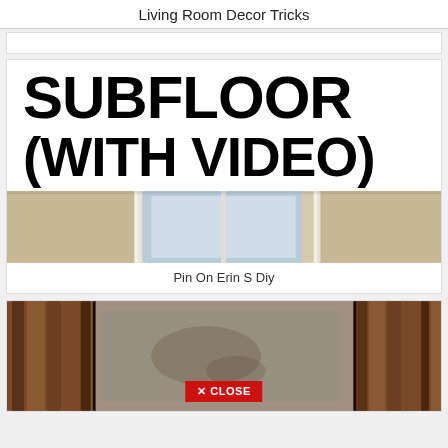Living Room Decor Tricks
[Figure (screenshot): Card with large bold text reading SUBFLOOR (WITH VIDEO) and a photo of a subfloor with window trim, captioned 'Pin On Erin S Diy']
Pin On Erin S Diy
[Figure (photo): Photo of wood planks and subfloor concrete, with a red CLOSE button overlay at bottom center]